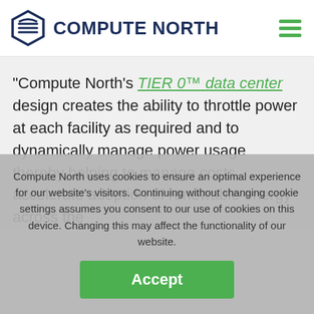[Figure (logo): Compute North logo with hexagonal icon and dark blue text 'COMPUTE NORTH' and green hamburger menu icon on the right]
"Compute North's TIER 0™ data center design creates the ability to throttle power at each facility as required and to dynamically manage power usage thereby helping to manage costs, accelerate adoption of renewable energy across the
Compute North uses cookies to ensure an optimal experience for our website's visitors. Continuing without changing cookie settings assumes you consent to our use of cookies on this device. Changing this may affect the functionality of our website.
Accept